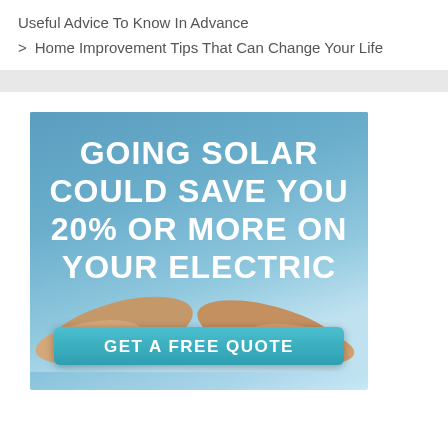Useful Advice To Know In Advance
> Home Improvement Tips That Can Change Your Life
[Figure (infographic): Solar energy advertisement banner with blue gradient background showing bold white text 'GOING SOLAR COULD SAVE YOU 20% OR MORE ON YOUR ELECTRIC' with a teal 'GET A FREE QUOTE' button at the bottom and hands visible in the lower portion.]